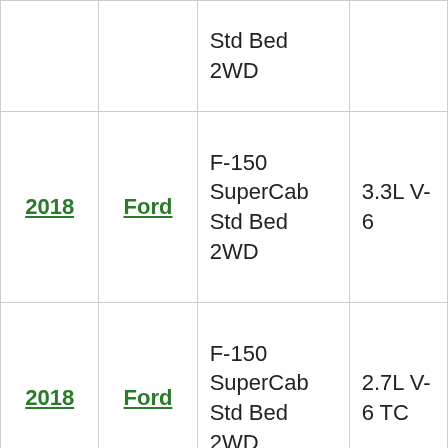| Year | Make | Model | Engine |
| --- | --- | --- | --- |
|  |  | Std Bed
2WD |  |
| 2018 | Ford | F-150 SuperCab Std Bed 2WD | 3.3L V-6 |
| 2018 | Ford | F-150 SuperCab Std Bed 2WD | 2.7L V-6 TC |
| 2018 | Ford | F-150 SuperCab | 2.7L V-6 TC |